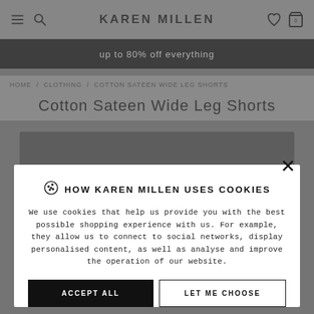KAREN MILLEN
up to 80% off everything
HOME / CLOTHING / COTTON SATEEN WIDE LEG SHORTS
Cotton Sateen Wide Leg Shorts
[Figure (screenshot): Product image area partially visible behind cookie modal overlay]
HOW KAREN MILLEN USES COOKIES
We use cookies that help us provide you with the best possible shopping experience with us. For example, they allow us to connect to social networks, display personalised content, as well as analyse and improve the operation of our website.
ACCEPT ALL
LET ME CHOOSE